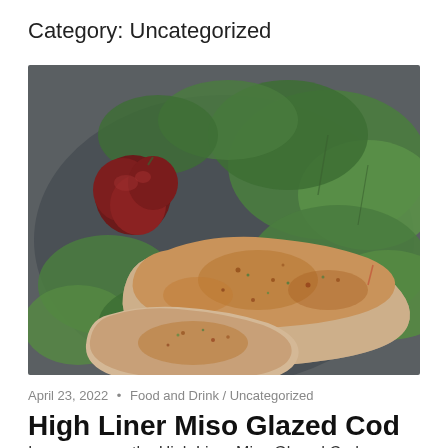Category: Uncategorized
[Figure (photo): A plate of miso glazed cod fish fillets on a bed of fresh green salad leaves with red beet pieces on a dark plate.]
April 23, 2022 • Food and Drink / Uncategorized
High Liner Miso Glazed Cod
I came across the High Liner Miso Glazed Cod